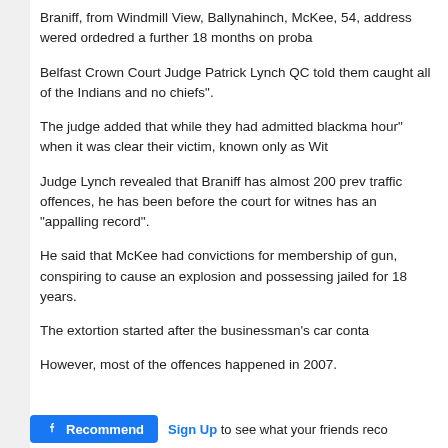Braniff, from Windmill View, Ballynahinch, McKee, 54, address wered ordedred a further 18 months on proba
Belfast Crown Court Judge Patrick Lynch QC told them caught all of the Indians and no chiefs".
The judge added that while they had admitted blackma hour" when it was clear their victim, known only as Wit
Judge Lynch revealed that Braniff has almost 200 prev traffic offences, he has been before the court for witnes has an “appalling record”.
He said that McKee had convictions for membership of gun, conspiring to cause an explosion and possessing jailed for 18 years.
The extortion started after the businessman’s car conta
However, most of the offences happened in 2007.
[Figure (screenshot): Facebook Recommend button and Sign Up link at bottom of article]